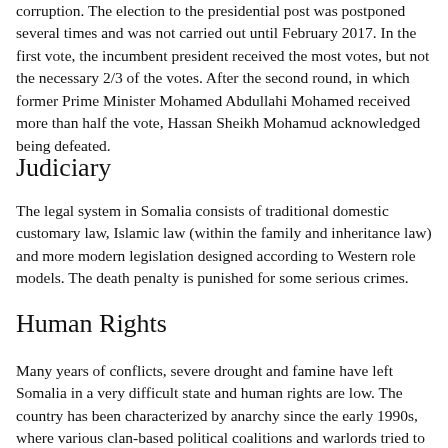corruption. The election to the presidential post was postponed several times and was not carried out until February 2017. In the first vote, the incumbent president received the most votes, but not the necessary 2/3 of the votes. After the second round, in which former Prime Minister Mohamed Abdullahi Mohamed received more than half the vote, Hassan Sheikh Mohamud acknowledged being defeated.
Judiciary
The legal system in Somalia consists of traditional domestic customary law, Islamic law (within the family and inheritance law) and more modern legislation designed according to Western role models. The death penalty is punished for some serious crimes.
Human Rights
Many years of conflicts, severe drought and famine have left Somalia in a very difficult state and human rights are low. The country has been characterized by anarchy since the early 1990s, where various clan-based political coalitions and warlords tried to establish control